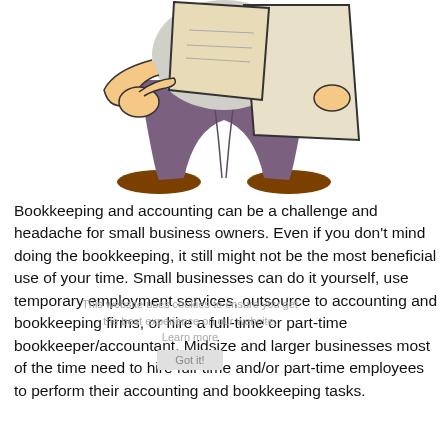[Figure (illustration): Cartoon illustration of a person (cropped, showing torso and lower body) holding large papers/documents. The figure wears a grey shirt and purple/mauve trousers with brown shoes. The hands are drawn in a cartoon style holding beige/cream colored document sheets.]
Bookkeeping and accounting can be a challenge and headache for small business owners. Even if you don't mind doing the bookkeeping, it still might not be the most beneficial use of your time. Small businesses can do it yourself, use temporary employment services, outsource to accounting and bookkeeping firms, or hire a full-time or part-time bookkeeper/accountant. Midsize and larger businesses most of the time need to hire full-time and/or part-time employees to perform their accounting and bookkeeping tasks.